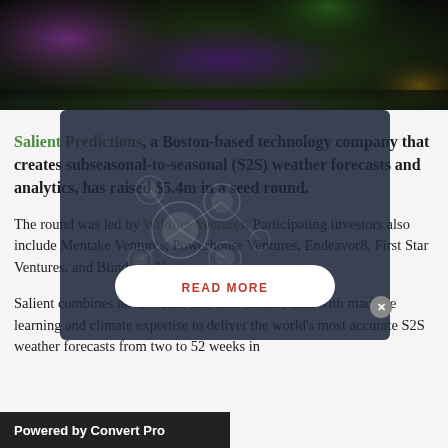[Figure (photo): Abstract colorful nebula/galaxy image with dark background and swirling purple, green, and orange hues]
Salient Predictions, a Boston-based technology company that creates subseasonal-to-seasonal (S2S) weather forecasts and analytics, has raised $5.4m in a seed round.
The round was led by Wildfire Ventures. Participating investors also include Mentake Ventures, Powerhouse Ventures, Endeavor8, First Star Ventures, and Blindspot Ventures.
Salient combines novel ocean and land-surface data with machine learning and climate expertise to deliver the world's most accurate S2S weather forecasts from two to 52 weeks in
[Figure (screenshot): Modal popup overlay with dark semi-transparent background, decorative molecule/bubble graphics, and a READ MORE button]
Powered by Convert Pro